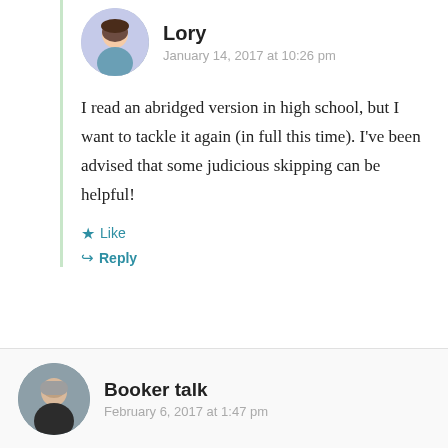Lory
January 14, 2017 at 10:26 pm
I read an abridged version in high school, but I want to tackle it again (in full this time). I've been advised that some judicious skipping can be helpful!
Like
Reply
Booker talk
February 6, 2017 at 1:47 pm